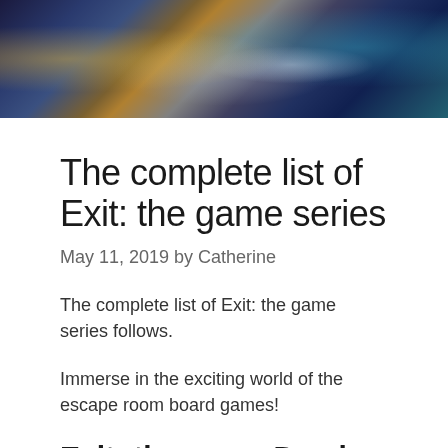[Figure (photo): A collage banner image showing scenes from escape room board games including a mysterious door, a clock, and underwater/mystical imagery with blue and gold tones.]
The complete list of Exit: the game series
May 11, 2019 by Catherine
The complete list of Exit: the game series follows.
Immerse in the exciting world of the escape room board games!
Exit: the game Dead Man on the Orient Express